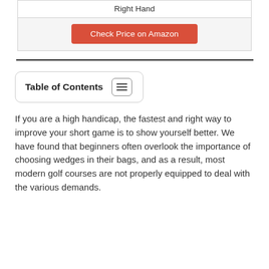| Right Hand |
| Check Price on Amazon |
Table of Contents
If you are a high handicap, the fastest and right way to improve your short game is to show yourself better. We have found that beginners often overlook the importance of choosing wedges in their bags, and as a result, most modern golf courses are not properly equipped to deal with the various demands.